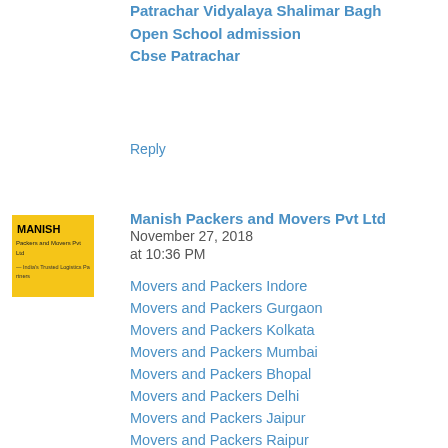Patrachar Vidyalaya Shalimar Bagh Open School admission Cbse Patrachar
Reply
[Figure (logo): Yellow square logo with MANISH text and Packers and Movers branding]
Manish Packers and Movers Pvt Ltd  November 27, 2018 at 10:36 PM
Movers and Packers Indore
Movers and Packers Gurgaon
Movers and Packers Kolkata
Movers and Packers Mumbai
Movers and Packers Bhopal
Movers and Packers Delhi
Movers and Packers Jaipur
Movers and Packers Raipur
Movers and Packers Pune
Movers and Packers Ahmedabad
Reply